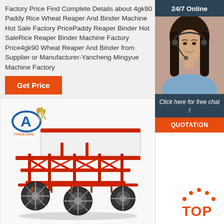Factory Price Find Complete Details about 4gk90 Paddy Rice Wheat Reaper And Binder Machine Hot Sale Factory PricePaddy Reaper Binder Hot SaleRice Reaper Binder Machine Factory Price4gk90 Wheat Reaper And Binder from Supplier or Manufacturer-Yancheng Mingyue Machine Factory
[Figure (other): Orange 'Get Price' button]
[Figure (photo): 24/7 Online chat widget with photo of woman wearing headset, 'Click here for free chat!' text, and orange QUOTATION button]
[Figure (photo): Red agricultural wheat reaper and binder machine with wheels and frame, shown with company logo (letter A with wheat)]
[Figure (other): Orange TOP button with dot pattern in bottom right corner]